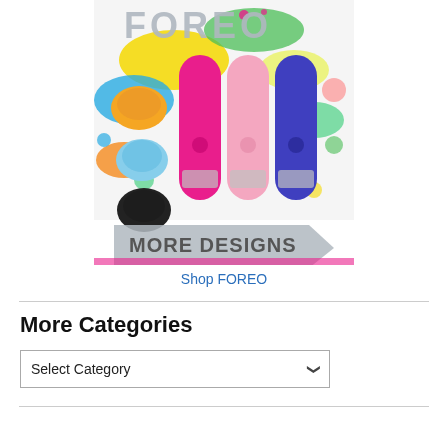[Figure (photo): FOREO brand promotional image showing colorful background with paint splashes, FOREO logo text, three tall silicone beauty device products in pink, light pink, and blue colors, two circular facial cleansing devices in yellow and light blue, a black circular device, and a 'MORE DESIGNS' banner arrow at the bottom]
Shop FOREO
More Categories
Select Category